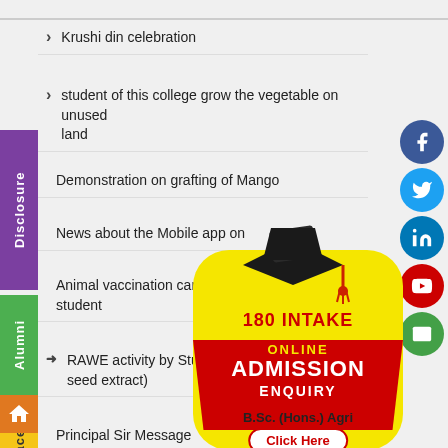Krushi din celebration
student of this college grow the vegetable on unused land
Demonstration on grafting of Mango
News about the Mobile app on
Animal vaccination camp student
RAWE activity by Student( how seed extract)
Principal Sir Message
[Figure (infographic): Online Admission Enquiry banner - 180 INTAKE, B.Sc. (Hons.) Agri, Click Here button, graduation cap illustration]